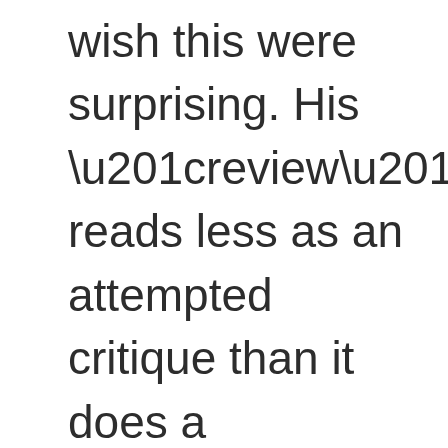wish this were surprising. His “review” reads less as an attempted critique than it does a desperate,